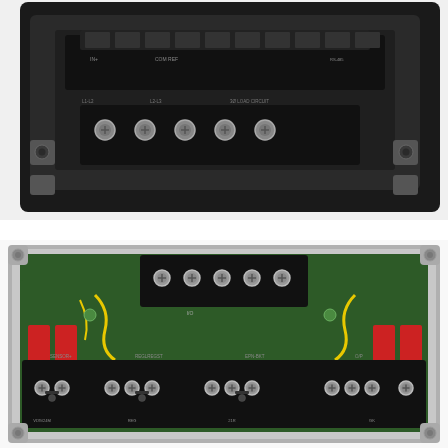[Figure (photo): Top-down angled view of an open electrical/electronic junction box or terminal block enclosure. Shows internal wiring terminals with multiple screw terminals and a black plastic terminal strip with silver bolt connections arranged in a row. The housing appears to be dark gray/black with mounting ears visible.]
[Figure (photo): Bottom view of an open electronic control unit or junction box showing internal PCB (green circuit board) with components, red capacitors on left and right sides, yellow wiring, two terminal blocks - one at top center with 6 screw terminals and one at bottom with multiple grouped screw terminal pairs. The enclosure is gray/silver with mounting ears at corners. Terminal labels partially visible.]